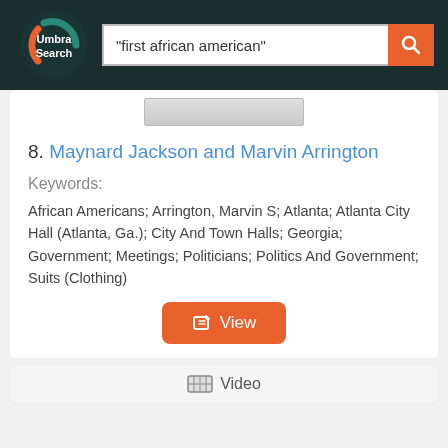[Figure (logo): Umbra Search logo — circular logo with orange and teal crescent arcs on dark background, white text 'Umbra Search']
"first african american"
[Figure (screenshot): Thumbnail image strip at top of search result card]
8. Maynard Jackson and Marvin Arrington
Keywords:
African Americans; Arrington, Marvin S; Atlanta; Atlanta City Hall (Atlanta, Ga.); City And Town Halls; Georgia; Government; Meetings; Politicians; Politics And Government; Suits (Clothing)
View
Video